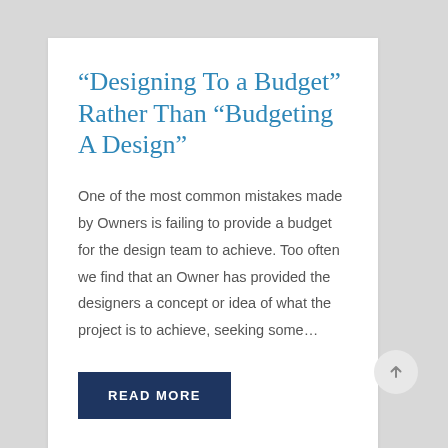“Designing To a Budget” Rather Than “Budgeting A Design”
One of the most common mistakes made by Owners is failing to provide a budget for the design team to achieve. Too often we find that an Owner has provided the designers a concept or idea of what the project is to achieve, seeking some…
READ MORE